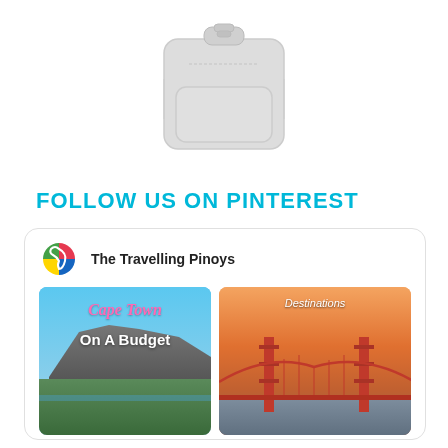[Figure (photo): Light gray backpack product photo on white background]
FOLLOW US ON PINTEREST
[Figure (screenshot): Pinterest widget showing 'The Travelling Pinoys' account with two travel photo pins: 'Cape Town On A Budget' showing Table Mountain, and 'Destinations' showing the Golden Gate Bridge at sunset]